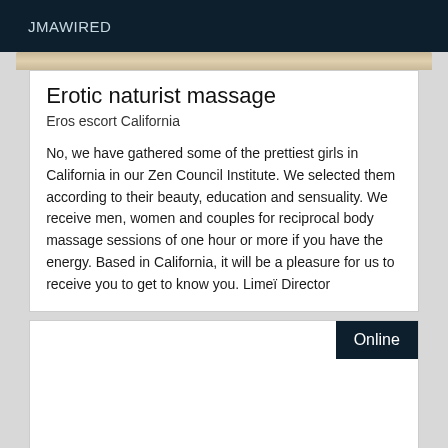JMAWIRED
Erotic naturist massage
Eros escort California
No, we have gathered some of the prettiest girls in California in our Zen Council Institute. We selected them according to their beauty, education and sensuality. We receive men, women and couples for reciprocal body massage sessions of one hour or more if you have the energy. Based in California, it will be a pleasure for us to receive you to get to know you. Limeï Director
Online